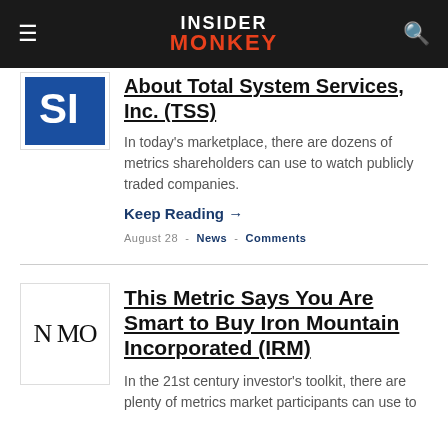INSIDER MONKEY
About Total System Services, Inc. (TSS)
In today's marketplace, there are dozens of metrics shareholders can use to watch publicly traded companies.
Keep Reading →
August 28 - News - Comments
This Metric Says You Are Smart to Buy Iron Mountain Incorporated (IRM)
In the 21st century investor's toolkit, there are plenty of metrics market participants can use to